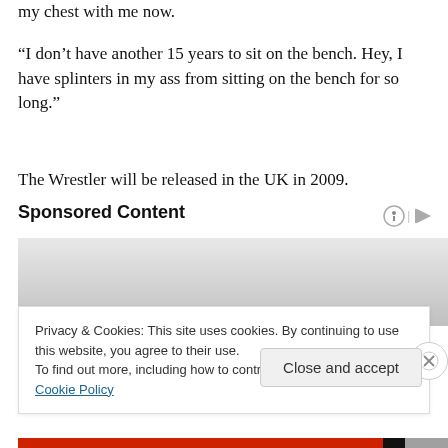my chest with me now.
“I don’t have another 15 years to sit on the bench. Hey, I have splinters in my ass from sitting on the bench for so long.”
The Wrestler will be released in the UK in 2009.
Sponsored Content
[Figure (other): Advertisement placeholder with gray gradient background]
Privacy & Cookies: This site uses cookies. By continuing to use this website, you agree to their use.
To find out more, including how to control cookies, see here: Cookie Policy
Close and accept